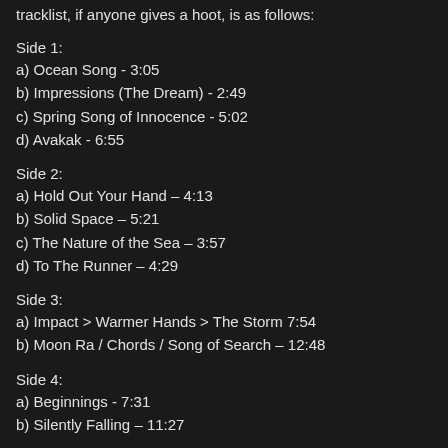tracklist, if anyone gives a hoot, is as follows:
Side 1:
a) Ocean Song - 3:05
b) Impressions (The Dream) - 2:49
c) Spring Song of Innocence - 5:02
d) Avakak - 6:55
Side 2:
a) Hold Out Your Hand – 4:13
b) Solid Space – 5:21
c) The Nature of the Sea – 3:57
d) To The Runner – 4:29
Side 3:
a) Impact > Warmer Hands > The Storm 7:54
b) Moon Ra / Chords / Song of Search – 12:48
Side 4:
a) Beginnings - 7:31
b) Silently Falling – 11:27
Side 5: